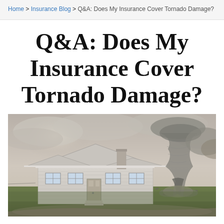Home > Insurance Blog > Q&A: Does My Insurance Cover Tornado Damage?
Q&A: Does My Insurance Cover Tornado Damage?
[Figure (photo): A white single-story house with a tornado funnel cloud forming in the background on a stormy day]